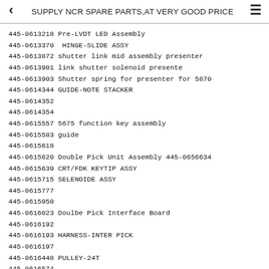SUPPLY NCR SPARE PARTS,AT VERY GOOD PRICE
445-0613218 Pre-LVDT LED Assembly
445-0613370  HINGE-SLIDE ASSY
445-0613872 shutter link mid assembly presenter
445-0613901 link shutter solenoid presente
445-0613903 Shutter spring for presenter for 5870
445-0614344 GUIDE-NOTE STACKER
445-0614352
445-0614354
445-0615557 5675 function key assembly
445-0615583 guide
445-0615618
445-0615620 Double Pick Unit Assembly 445-0656634
445-0615639 CRT/FDK KEYTIP ASSY
445-0615715 SELENOIDE ASSY
445-0615777
445-0615950
445-0616023 Doulbe Pick Interface Board
445-0616192
445-0616193 HARNESS-INTER PICK
445-0616197
445-0616448 PULLEY-24T
445-0616574